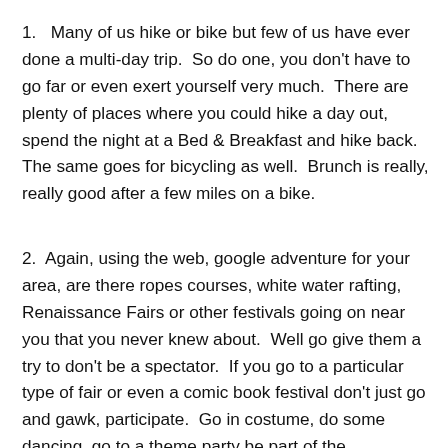1.   Many of us hike or bike but few of us have ever done a multi-day trip.  So do one, you don't have to go far or even exert yourself very much.  There are plenty of places where you could hike a day out, spend the night at a Bed & Breakfast and hike back.  The same goes for bicycling as well.  Brunch is really, really good after a few miles on a bike.
2.  Again, using the web, google adventure for your area, are there ropes courses, white water rafting, Renaissance Fairs or other festivals going on near you that you never knew about.  Well go give them a try to don't be a spectator.  If you go to a particular type of fair or even a comic book festival don't just go and gawk, participate.  Go in costume, do some dancing, go to a theme party be part of the experience and you'll enjoy it so much more.